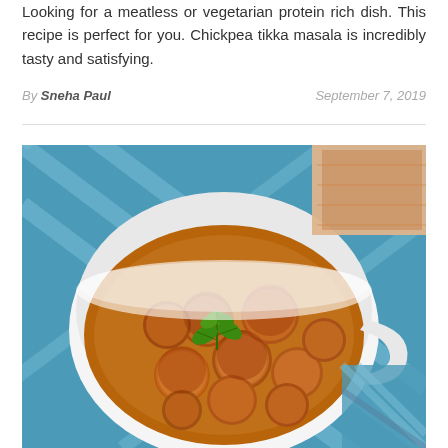Looking for a meatless or vegetarian protein rich dish. This recipe is perfect for you. Chickpea tikka masala is incredibly tasty and satisfying.
By Sneha Paul   September 7, 2019
[Figure (photo): A white bowl filled with spiced chickpea tikka masala balls dusted with orange-brown spice, garnished with fresh green mint leaves, placed on a blue plaid cloth background. A piece of flatbread with spice is partially visible in the top right corner.]